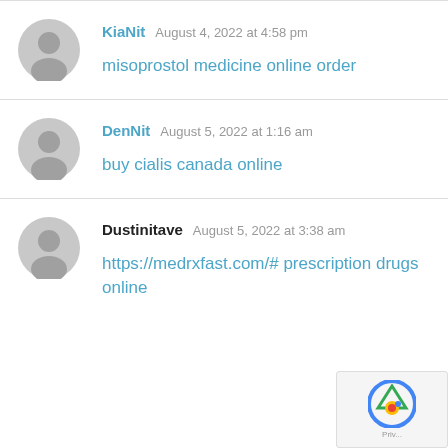KiaNit  August 4, 2022 at 4:58 pm
misoprostol medicine online order
DenNit  August 5, 2022 at 1:16 am
buy cialis canada online
Dustinitave  August 5, 2022 at 3:38 am
https://medrxfast.com/# prescription drugs online